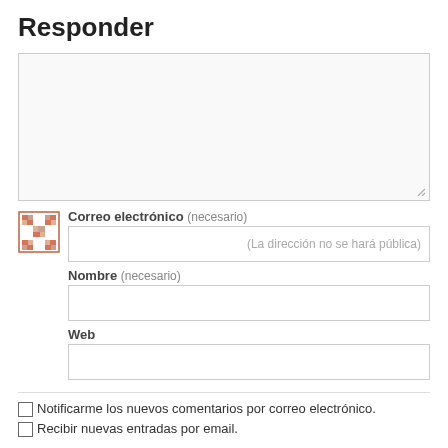Responder
[Figure (other): Large comment textarea input box with resize handle at bottom-right]
Correo electrónico (necesario)
(La dirección no se hará pública)
Nombre (necesario)
Web
Notificarme los nuevos comentarios por correo electrónico.
Recibir nuevas entradas por email.